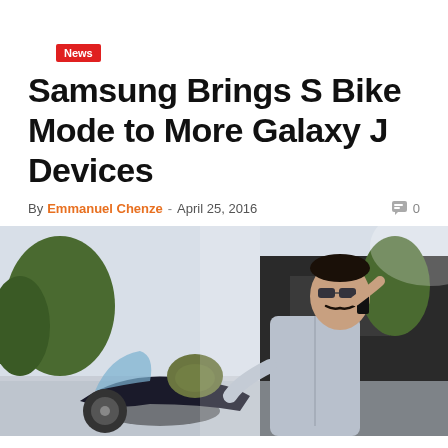News
Samsung Brings S Bike Mode to More Galaxy J Devices
By Emmanuel Chenze - April 25, 2016  0
[Figure (photo): A young man with sunglasses and a mustache talking on a smartphone, wearing a light blue shirt, sitting near a motorcycle with a green helmet, with a dark building and green trees in the background.]